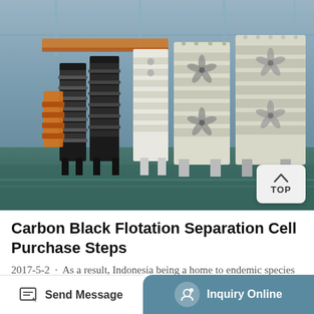[Figure (photo): Industrial factory interior showing rows of large flotation separation cell machines, alternating black and cream/white colored units stacked and arranged in a warehouse setting with steel structure visible overhead.]
Carbon Black Flotation Separation Cell Purchase Steps
2017-5-2 · As a result, Indonesia being a home to endemic species of plants including more than 40,000 flowering plants, 5,000 species of orchids and giant flowers (Rafflesia arnoldii)